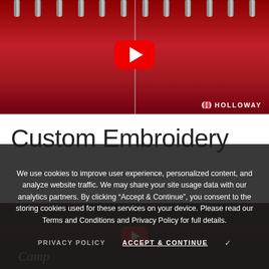[Figure (screenshot): YouTube video thumbnail showing a multi-needle embroidery machine stitching red fabric, with a red YouTube play button centered on the image and a Holloway brand logo in the bottom right corner.]
Custom Embroidery
[Figure (screenshot): A second video thumbnail at the bottom showing dark red embroidery with cursive text 'Camp' visible and a YouTube play button.]
We use cookies to improve user experience, personalized content, and analyze website traffic. We may share your site usage data with our analytics partners. By clicking “Accept & Continue”, you consent to the storing cookies used for these services on your device. Please read our Terms and Conditions and Privacy Policy for full details.
PRIVACY POLICY   ACCEPT & CONTINUE ✓